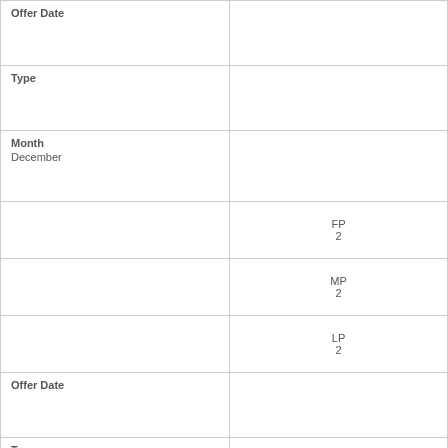| Offer Date |  |
| Type |  |
| Month
December |  |
|  | FP
2 |
|  | MP
2 |
|  | LP
2 |
| Offer Date |  |
| Type |  |
| Month |  |
|  | FP |